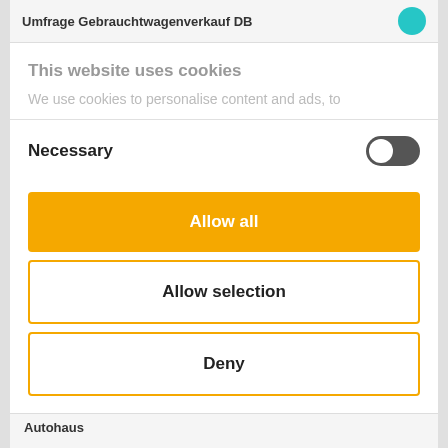Umfrage Gebrauchtwagenverkauf DB
This website uses cookies
We use cookies to personalise content and ads, to
Necessary
Allow all
Allow selection
Deny
Autohaus